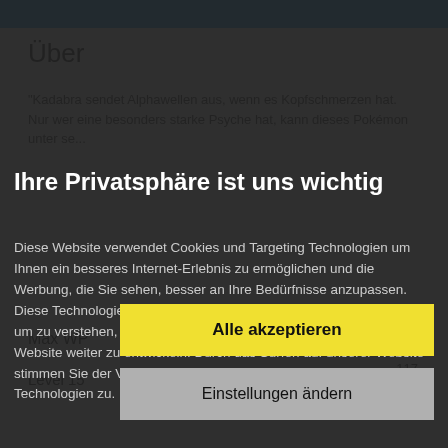Über
"Kadabra sendet Alphawellen aus, wenn es Kopfschmerzen hat. Nur wer eine besonders starke Psyche hat, kann dieses Pokémon unter se...
Ihre Privatsphäre ist uns wichtig
Diese Website verwendet Cookies und Targeting Technologien um Ihnen ein besseres Internet-Erlebnis zu ermöglichen und die Werbung, die Sie sehen, besser an Ihre Bedürfnisse anzupassen. Diese Technologien nutzen wir außerdem, um Ergebnisse zu messen, um zu verstehen, woher unsere Besucher kommen oder um unsere Website weiter zu entwickeln. Durch das Surfen auf unserer Website stimmen Sie der Verwendung von Cookies und anderen Tracking-Technologien zu.
Max WP
Level 15
232
117
20
Alle akzeptieren
Einstellungen ändern